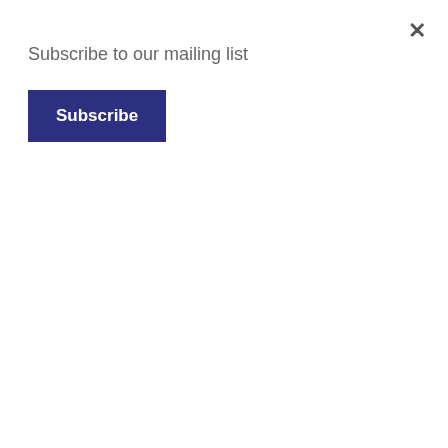Subscribe to our mailing list
Subscribe
come to America and the real benefits and costs they bring with them. In a similar vein, there’s very little attention given to the different ways we can work with other countries in order to address these issues.
Both sides continue to beat the drum on immigration but rarely does one hear politicians provide a whisper of creativity or innovation to key questions. For example, how has migration been exacerbated by climate change? What’s the effect of an “America First” trade policy, strong dollar and expanding economy on